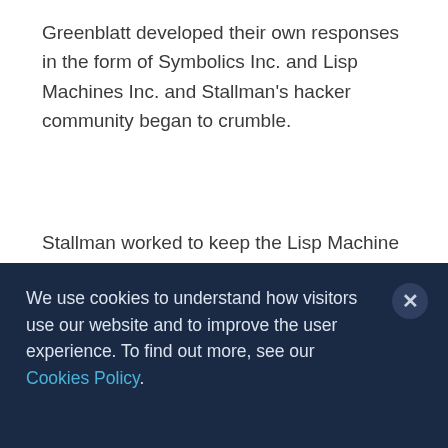Greenblatt developed their own responses in the form of Symbolics Inc. and Lisp Machines Inc. and Stallman's hacker community began to crumble.
Stallman worked to keep the Lisp Machine source code free to share until 1983, when, presumably, he saw little hope of reforming the community of hackers that he longed for and could see that academic culture and the intellectual property regime had changed in ways that were no longer
We use cookies to understand how visitors use our website and to improve the user experience. To find out more, see our Cookies Policy.